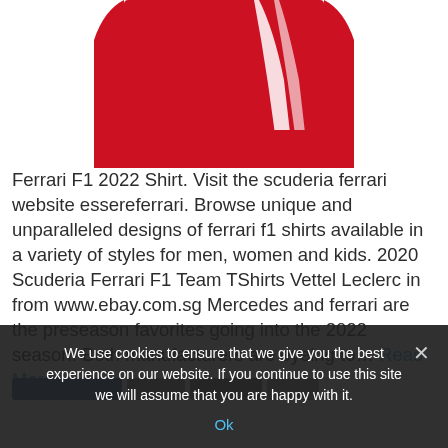[Figure (photo): Partial view of a red Ferrari F1 team shirt cropped at the top of the page]
Ferrari F1 2022 Shirt. Visit the scuderia ferrari website essereferrari. Browse unique and unparalleled designs of ferrari f1 shirts available in a variety of styles for men, women and kids. 2020 Scuderia Ferrari F1 Team TShirts Vettel Leclerc in from www.ebay.com.sg Mercedes and ferrari are the preseason favorites going into the 2022 season. Both manufacturers are eyeing to… Read More »
We use cookies to ensure that we give you the best experience on our website. If you continue to use this site we will assume that you are happy with it.
Ok